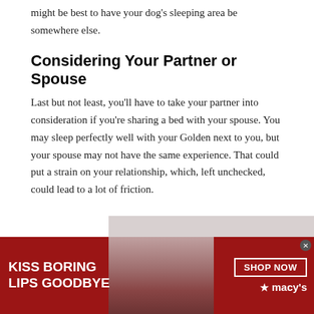might be best to have your dog's sleeping area be somewhere else.
Considering Your Partner or Spouse
Last but not least, you'll have to take your partner into consideration if you're sharing a bed with your spouse. You may sleep perfectly well with your Golden next to you, but your spouse may not have the same experience. That could put a strain on your relationship, which, left unchecked, could lead to a lot of friction.
[Figure (photo): Macy's advertisement banner at the bottom with red background, text 'KISS BORING LIPS GOODBYE', a woman's face with red lipstick in center, and 'SHOP NOW' button with Macy's star logo on the right.]